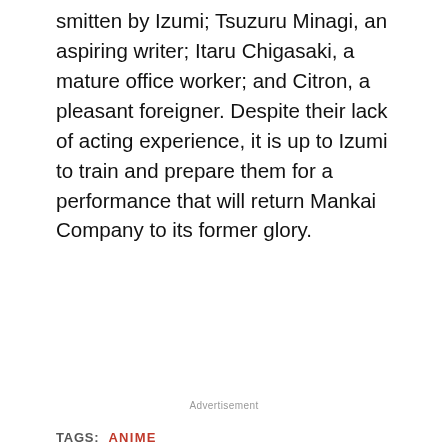smitten by Izumi; Tsuzuru Minagi, an aspiring writer; Itaru Chigasaki, a mature office worker; and Citron, a pleasant foreigner. Despite their lack of acting experience, it is up to Izumi to train and prepare them for a performance that will return Mankai Company to its former glory.
Advertisement
TAGS:  ANIME
Sujeet Kumar
Gamer, Enjoy Anime and Admin.
Facebook  Twitter  +